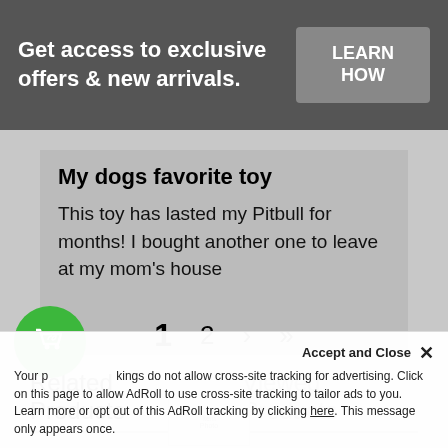Get access to exclusive offers & new arrivals.
LEARN HOW
My dogs favorite toy
This toy has lasted my Pitbull for months! I bought another one to leave at my mom's house
1  2  >  >>
Related Products   Viewed Products
Accept and Close ×
Your privacy settings do not allow cross-site tracking for advertising. Click on this page to allow AdRoll to use cross-site tracking to tailor ads to you. Learn more or opt out of this AdRoll tracking by clicking here. This message only appears once.